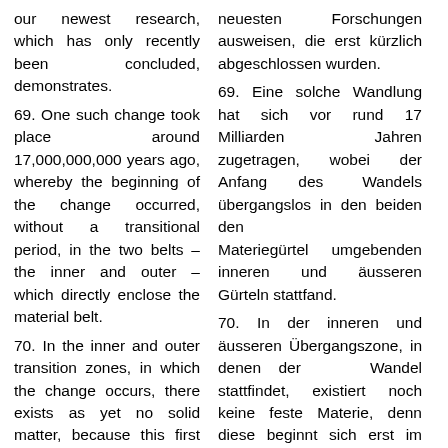our newest research, which has only recently been concluded, demonstrates.
69. One such change took place around 17,000,000,000 years ago, whereby the beginning of the change occurred, without a transitional period, in the two belts – the inner and outer – which directly enclose the material belt.
70. In the inner and outer transition zones, in which the change occurs, there exists as yet no solid matter, because this first begins materially to solidify into coarse matter in the actual material part of the material
neuesten Forschungen ausweisen, die erst kürzlich abgeschlossen wurden.
69. Eine solche Wandlung hat sich vor rund 17 Milliarden Jahren zugetragen, wobei der Anfang des Wandels übergangslos in den beiden den Materiegürtel umgebenden inneren und äusseren Gürteln stattfand.
70. In der inneren und äusseren Übergangszone, in denen der Wandel stattfindet, existiert noch keine feste Materie, denn diese beginnt sich erst im eigentlichen materiellen Teil des Materiegürtels